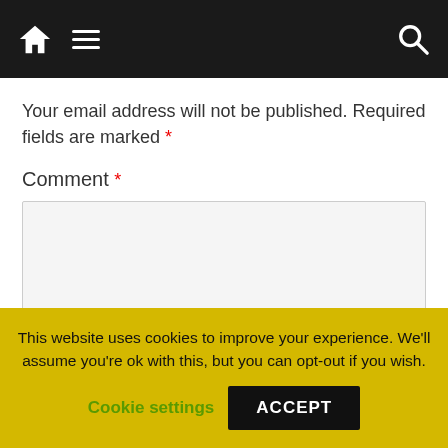Navigation bar with home icon, menu icon, and search icon
Your email address will not be published. Required fields are marked *
Comment *
[Figure (screenshot): Comment text input area - large empty text box with light grey background]
This website uses cookies to improve your experience. We'll assume you're ok with this, but you can opt-out if you wish.
Cookie settings   ACCEPT